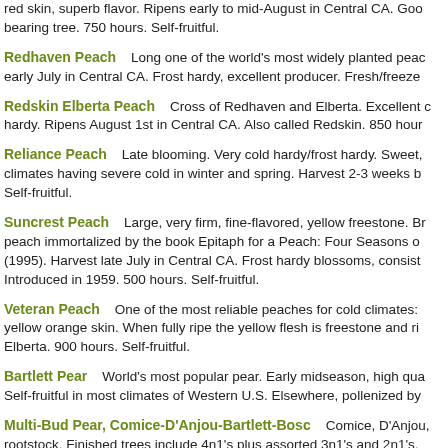red skin, superb flavor. Ripens early to mid-August in Central CA. Good bearing tree. 750 hours. Self-fruitful.
Redhaven Peach    Long one of the world's most widely planted peaches. Ripens early July in Central CA. Frost hardy, excellent producer. Fresh/freeze...
Redskin Elberta Peach    Cross of Redhaven and Elberta. Excellent quality. Frost hardy. Ripens August 1st in Central CA. Also called Redskin. 850 hours...
Reliance Peach    Late blooming. Very cold hardy/frost hardy. Sweet, for climates having severe cold in winter and spring. Harvest 2-3 weeks b... Self-fruitful.
Suncrest Peach    Large, very firm, fine-flavored, yellow freestone. Br... peach immortalized by the book Epitaph for a Peach: Four Seasons on... (1995). Harvest late July in Central CA. Frost hardy blossoms, consist... Introduced in 1959. 500 hours. Self-fruitful.
Veteran Peach    One of the most reliable peaches for cold climates: yellow orange skin. When fully ripe the yellow flesh is freestone and ri... Elberta. 900 hours. Self-fruitful.
Bartlett Pear    World's most popular pear. Early midseason, high qua... Self-fruitful in most climates of Western U.S. Elsewhere, pollenized by...
Multi-Bud Pear, Comice-D'Anjou-Bartlett-Bosc    Comice, D'Anjou,... rootstock. Finished trees include 4n1's plus assorted 3n1's and 2n1's.
Burgundy Plum    Maroon colored skin and semi-freestone flesh. Sweet, pleasing, mild flavor. High taste test scores. Prolonged harvest, mid-Ju... productive tree with narrow, upright habit. 300 hours. Self-fruitful.